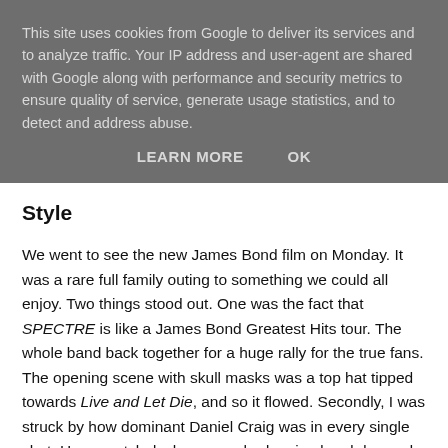This site uses cookies from Google to deliver its services and to analyze traffic. Your IP address and user-agent are shared with Google along with performance and security metrics to ensure quality of service, generate usage statistics, and to detect and address abuse.
LEARN MORE   OK
Style
We went to see the new James Bond film on Monday. It was a rare full family outing to something we could all enjoy. Two things stood out. One was the fact that SPECTRE is like a James Bond Greatest Hits tour. The whole band back together for a huge rally for the true fans. The opening scene with skull masks was a top hat tipped towards Live and Let Die, and so it flowed. Secondly, I was struck by how dominant Daniel Craig was in every single shot. He was styled, choreographed, poised and dressed like each scene was a commercial or a pop video. His walk, his every look was an exercise in making the job of his successor an